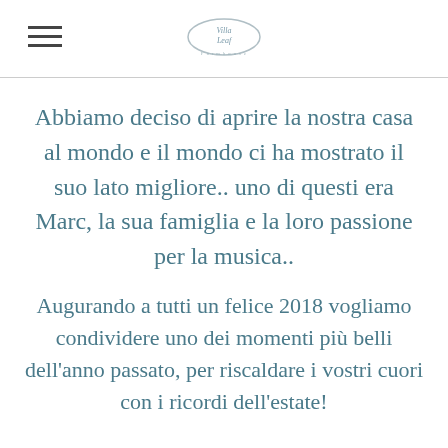Villa Leaf (logo)
Abbiamo deciso di aprire la nostra casa al mondo e il mondo ci ha mostrato il suo lato migliore.. uno di questi era Marc, la sua famiglia e la loro passione per la musica..
Augurando a tutti un felice 2018 vogliamo condividere uno dei momenti più belli dell'anno passato, per riscaldare i vostri cuori con i ricordi dell'estate!